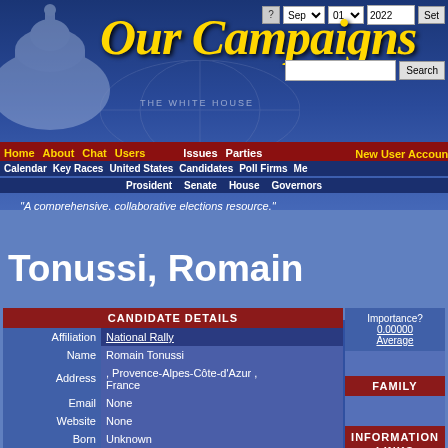Our Campaigns
Home About Chat Users Issues Parties New User Account Calendar Key Races United States Candidates Poll Firms Me Prosident Senate House Governors
"A comprehensive, collaborative elections resource."
Email: Password: Login
Tonussi, Romain
| Field | Value |
| --- | --- |
| CANDIDATE DETAILS |  |
| Affiliation | National Rally |
| Name | Romain Tonussi |
| Address | , Provence-Alpes-Côte-d'Azur , France |
| Email | None |
| Website | None |
| Born | Unknown |
| Contributor | IndyGeorgia |
| Last Modifed | IndyGeorgia Jun 20, 2022 09:54am |
| Field | Value |
| --- | --- |
| Importance? | 0.00000 Average |
| FAMILY |  |
| INFORMATION LINKS |  |
| RACES |  |
| French National Assembly - 06/19/2022 | Bouches- Lost 46.83% |